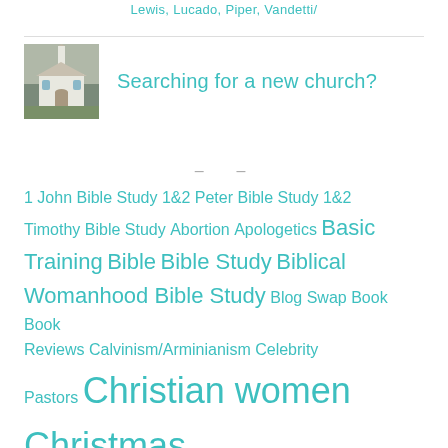Lewis, Lucado, Piper, Vandetti/
[Figure (photo): Small white church building with steeple]
Searching for a new church?
– –
1 John Bible Study
1&2 Peter Bible Study
1&2 Timothy Bible Study
Abortion
Apologetics
Basic Training
Bible
Bible Study
Biblical Womanhood Bible Study
Blog Swap
Book
Book Reviews
Calvinism/Arminianism
Celebrity Pastors
Christian women
Christmas
Church
Colossians Bible Study
Complementarianism